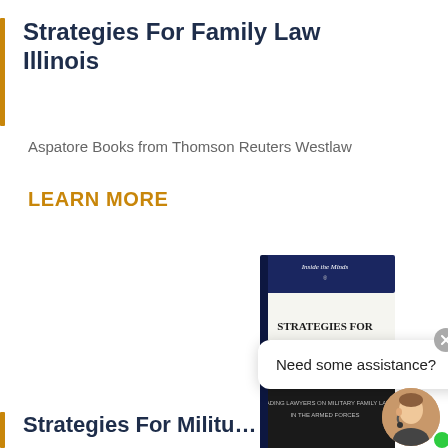Strategies For Family Law Illinois
Aspatore Books from Thomson Reuters Westlaw
LEARN MORE
[Figure (photo): Book cover showing 'STRATEGIES FOR MILITARY FAMILY LAW' with dark blue and white cover design, Inside the Minds series]
Need some assistance?
Strategies For Militu...